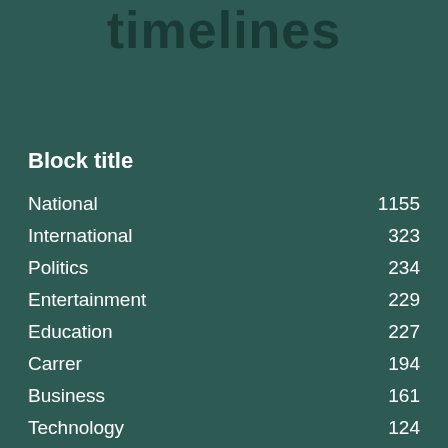timelines
Block title
National 1155
International 323
Politics 234
Entertainment 229
Education 227
Carrer 194
Business 161
Technology 124
Other 108